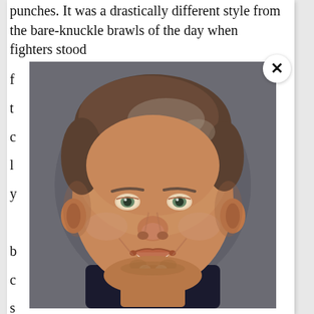punches. It was a drastically different style from the bare-knuckle brawls of the day when fighters stood
f t c l y l b c s t h i a c l c
[Figure (photo): Close-up portrait of a smiling middle-aged man with salt-and-pepper hair and stubble beard, wearing a dark suit, against a grey background.]